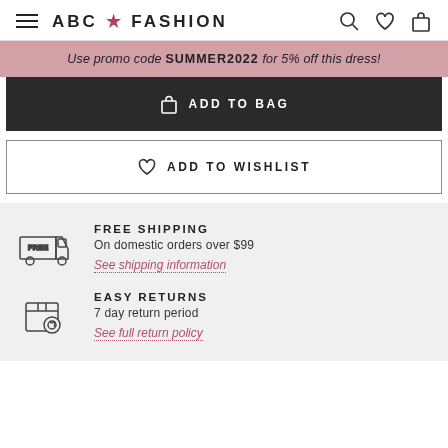ABC ★ FASHION
Use promo code SUMMER2022 for 5% off this dress!
ADD TO BAG
ADD TO WISHLIST
FREE SHIPPING
On domestic orders over $99
See shipping information
EASY RETURNS
7 day return period
See full return policy